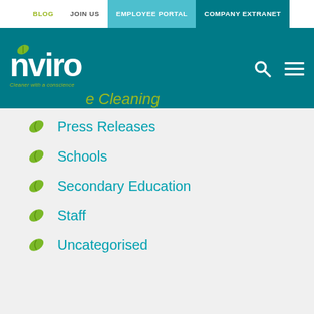BLOG | JOIN US | EMPLOYEE PORTAL | COMPANY EXTRANET
[Figure (logo): nviro logo with green leaf and tagline 'Cleaner with a conscience']
Press Releases
Schools
Secondary Education
Staff
Uncategorised